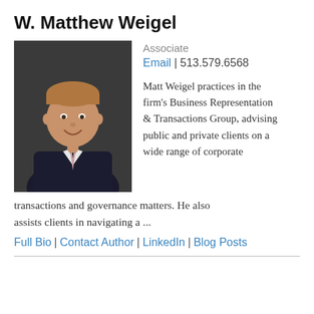W. Matthew Weigel
[Figure (photo): Professional headshot of W. Matthew Weigel, a man in a dark suit with a light pink tie, smiling, against a dark background.]
Associate
Email | 513.579.6568
Matt Weigel practices in the firm's Business Representation & Transactions Group, advising public and private clients on a wide range of corporate transactions and governance matters. He also assists clients in navigating a ...
Full Bio | Contact Author | LinkedIn | Blog Posts